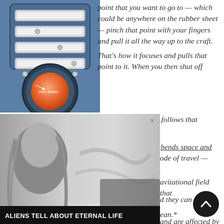[Figure (illustration): Technical illustration of a spacecraft gravity generator device with rectangular panels/controls on top and a large orange circular core plate element at the bottom, on a blue-grey metallic background.]
point that you want to go to — which could be anywhere on the rubber sheet — pinch that point with your fingers and pull it all the way up to the craft. That's how it focuses and pulls that point to it. When you then shut off the gravity generator[s], the stone (or spacecraft) follows that stretched rubber back to its point.
There's no linear travel through space; it actually bends space and time and follows space as it retracts. In the first mode of travel — around the surface of a planet —
avitational field that
d they can ride a
ean.*
[Figure (photo): Black and white photo of a woman with long blonde hair, with a movie scene overlay. Banner text at bottom reads: ALIENS TELL ABOUT ETERNAL LIFE]
and are affected by